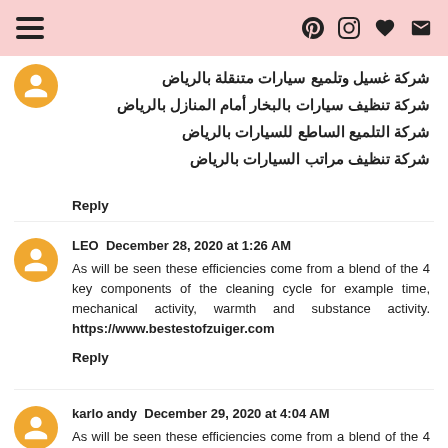شركة غسيل وتلميع سيارات متنقلة بالرياض
شركة تنظيف سيارات بالبخار أمام المنازل بالرياض
شركة التلميع الساطع للسيارات بالرياض
شركة تنظيف مراتب السيارات بالرياض
Reply
LEO  December 28, 2020 at 1:26 AM
As will be seen these efficiencies come from a blend of the 4 key components of the cleaning cycle for example time, mechanical activity, warmth and substance activity. https://www.bestestofzuiger.com
Reply
karlo andy  December 29, 2020 at 4:04 AM
As will be seen these efficiencies come from a blend of the 4 key components of the cleaning cycle for example time, mechanical activity, and this